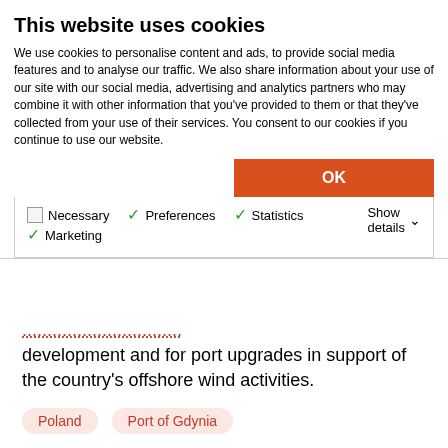This website uses cookies
We use cookies to personalise content and ads, to provide social media features and to analyse our traffic. We also share information about your use of our site with our social media, advertising and analytics partners who may combine it with other information that you've provided to them or that they've collected from your use of their services. You consent to our cookies if you continue to use our website.
OK
Necessary  Preferences  Statistics  Marketing  Show details
development and for port upgrades in support of the country's offshore wind activities.
Poland  Port of Gdynia
Photo: Port of Gdynia
Share this article